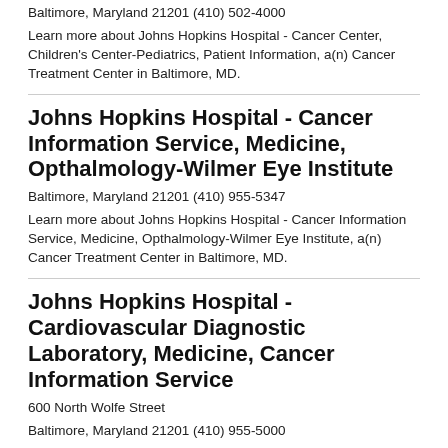Baltimore, Maryland 21201 (410) 502-4000
Learn more about Johns Hopkins Hospital - Cancer Center, Children's Center-Pediatrics, Patient Information, a(n) Cancer Treatment Center in Baltimore, MD.
Johns Hopkins Hospital - Cancer Information Service, Medicine, Opthalmology-Wilmer Eye Institute
Baltimore, Maryland 21201 (410) 955-5347
Learn more about Johns Hopkins Hospital - Cancer Information Service, Medicine, Opthalmology-Wilmer Eye Institute, a(n) Cancer Treatment Center in Baltimore, MD.
Johns Hopkins Hospital - Cardiovascular Diagnostic Laboratory, Medicine, Cancer Information Service
600 North Wolfe Street
Baltimore, Maryland 21201 (410) 955-5000